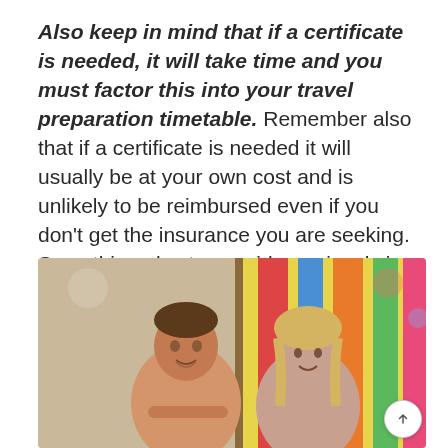Also keep in mind that if a certificate is needed, it will take time and you must factor this into your travel preparation timetable. Remember also that if a certificate is needed it will usually be at your own cost and is unlikely to be reimbursed even if you don't get the insurance you are seeking. Something else to consider seriously is how your destination will affect the cost of your insurance.
[Figure (photo): Photo of a middle-aged man and an older woman smiling, appearing to be on a vacation or travel setting with colorful background.]